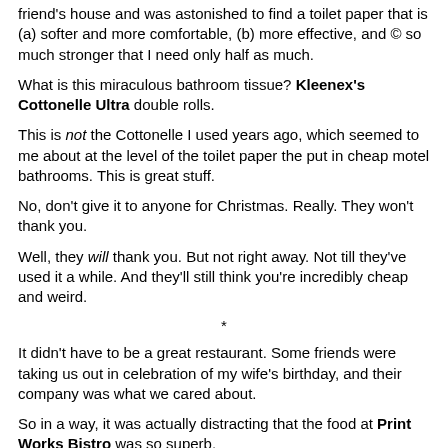friend's house and was astonished to find a toilet paper that is (a) softer and more comfortable, (b) more effective, and © so much stronger that I need only half as much.
What is this miraculous bathroom tissue? Kleenex's Cottonelle Ultra double rolls.
This is not the Cottonelle I used years ago, which seemed to me about at the level of the toilet paper the put in cheap motel bathrooms. This is great stuff.
No, don't give it to anyone for Christmas. Really. They won't thank you.
Well, they will thank you. But not right away. Not till they've used it a while. And they'll still think you're incredibly cheap and weird.
*
It didn't have to be a great restaurant. Some friends were taking us out in celebration of my wife's birthday, and their company was what we cared about.
So in a way, it was actually distracting that the food at Print Works Bistro was so superb.